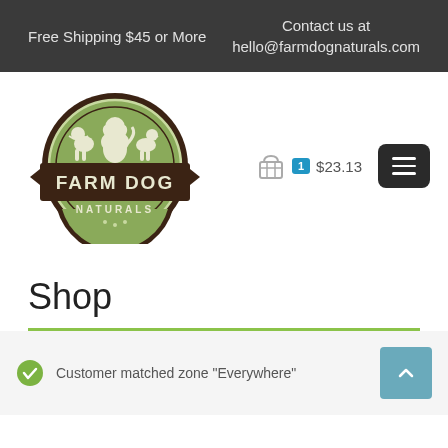Free Shipping $45 or More | Contact us at hello@farmdognaturals.com
[Figure (logo): Farm Dog Naturals circular logo with green background, silhouettes of three dogs, and dark brown banner with text FARM DOG NATURALS]
1 $23.13
Shop
Customer matched zone "Everywhere"